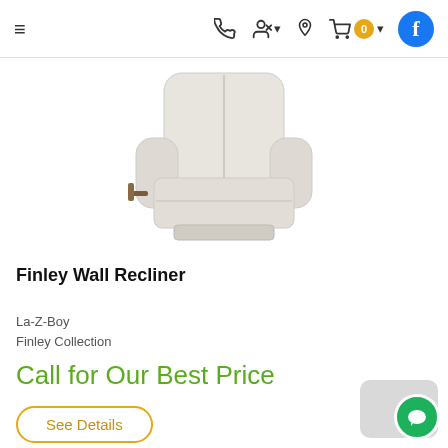≡  [phone icon]  [user icon] ▾  [location icon]  [cart icon] 0 ▾  [Facebook icon]
[Figure (photo): A light gray/cream upholstered La-Z-Boy Finley Wall Recliner chair with a wooden lever handle on the left side, shown from a slightly angled front view on a white background.]
Finley Wall Recliner
La-Z-Boy
Finley Collection
Call for Our Best Price
See Details